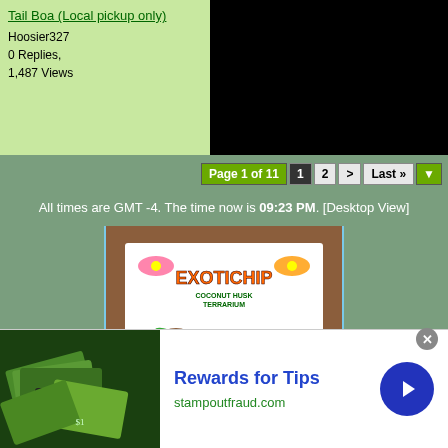Tail Boa (Local pickup only)
Hoosier327
0 Replies, 1,487 Views
Page 1 of 11  1  2  >  Last »
All times are GMT -4. The time now is 09:23 PM. [Desktop View]
[Figure (photo): ExotiChip product label on coconut fiber substrate packaging]
[Figure (photo): ExotiChip Ready Chips product bag on coconut fiber substrate]
Rewards for Tips
stampoutfraud.com